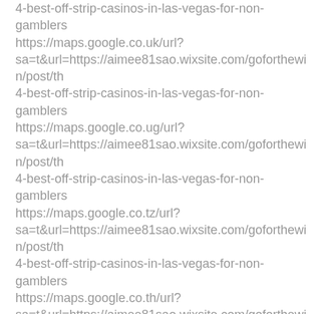4-best-off-strip-casinos-in-las-vegas-for-non-gamblers
https://maps.google.co.uk/url?sa=t&url=https://aimee81sao.wixsite.com/goforthewin/post/th4-best-off-strip-casinos-in-las-vegas-for-non-gamblers
https://maps.google.co.ug/url?sa=t&url=https://aimee81sao.wixsite.com/goforthewin/post/th4-best-off-strip-casinos-in-las-vegas-for-non-gamblers
https://maps.google.co.tz/url?sa=t&url=https://aimee81sao.wixsite.com/goforthewin/post/th4-best-off-strip-casinos-in-las-vegas-for-non-gamblers
https://maps.google.co.th/url?sa=t&url=https://aimee81sao.wixsite.com/goforthewin/post/th4-best-off-strip-casinos-in-las-vegas-for-non-gamblers
https://maps.google.co.nz/url?sa=t&url=https://aimee81sao.wixsite.com/goforthewin/post/th